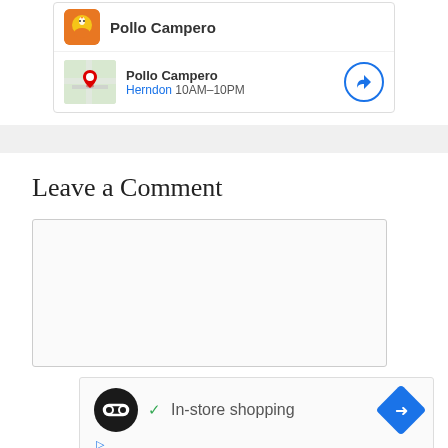[Figure (screenshot): Pollo Campero restaurant listing card showing logo and Herndon location 10AM-10PM with directions button]
[Figure (screenshot): Gray separator band]
Leave a Comment
[Figure (screenshot): Empty comment text input box with border]
[Figure (screenshot): Advertisement box with In-store shopping text, checkmark, logo circle, and blue directions diamond icon, with ad disclosure icons]